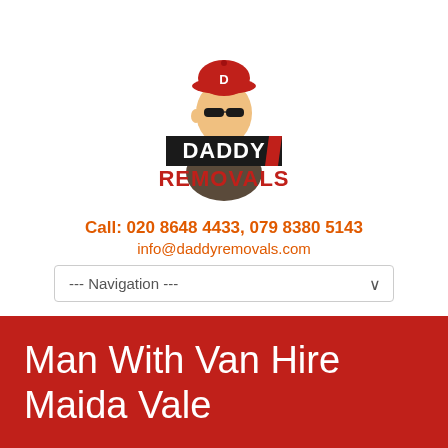[Figure (logo): Daddy Removals logo: cartoon man with red cap wearing sunglasses, text 'DADDY REMOVALS' in bold black and red letters]
Call: 020 8648 4433, 079 8380 5143
info@daddyremovals.com
--- Navigation ---
Man With Van Hire Maida Vale
Home → Man With Van Hire Maida Vale